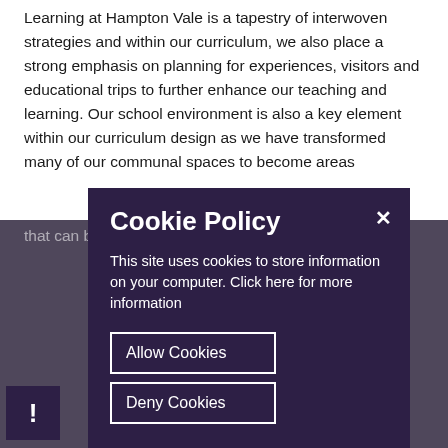Learning at Hampton Vale is a tapestry of interwoven strategies and within our curriculum, we also place a strong emphasis on planning for experiences, visitors and educational trips to further enhance our teaching and learning. Our school environment is also a key element within our curriculum design as we have transformed many of our communal spaces to become areas that can be used within our teaching and learning.
Cookie Policy
This site uses cookies to store information on your computer. Click here for more information
Allow Cookies
Deny Cookies